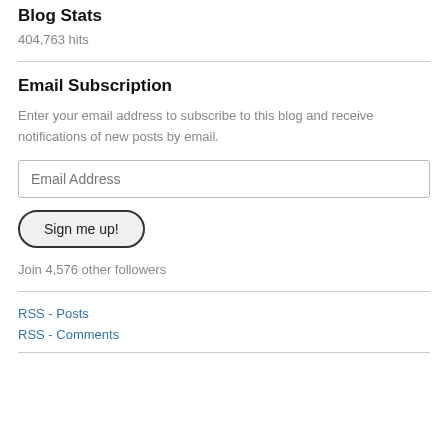Blog Stats
404,763 hits
Email Subscription
Enter your email address to subscribe to this blog and receive notifications of new posts by email.
Email Address
Sign me up!
Join 4,576 other followers
RSS - Posts
RSS - Comments